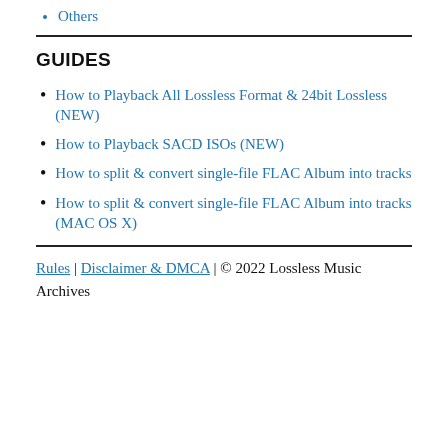Others
GUIDES
How to Playback All Lossless Format & 24bit Lossless (NEW)
How to Playback SACD ISOs (NEW)
How to split & convert single-file FLAC Album into tracks
How to split & convert single-file FLAC Album into tracks (MAC OS X)
Rules | Disclaimer & DMCA | © 2022 Lossless Music Archives